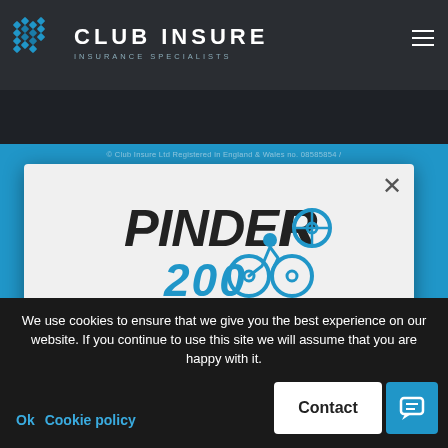[Figure (logo): Club Insure Insurance Specialists logo with diamond/hexagon graphic and text]
[Figure (logo): Pinder200 cycling fundraising logo with stylized cyclist and '200' text in blue]
We're fundraising for Prostate Cancer UK
We use cookies to ensure that we give you the best experience on our website. If you continue to use this site we will assume that you are happy with it.
Ok  Cookie policy